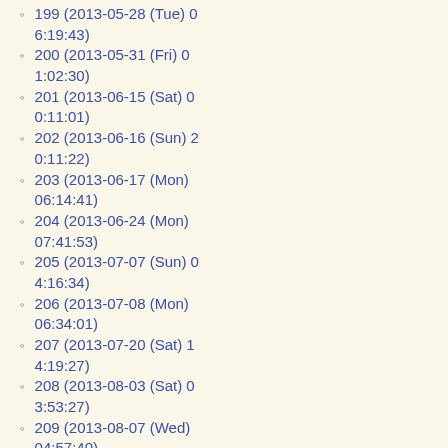199 (2013-05-28 (Tue) 06:19:43)
200 (2013-05-31 (Fri) 01:02:30)
201 (2013-06-15 (Sat) 00:11:01)
202 (2013-06-16 (Sun) 20:11:22)
203 (2013-06-17 (Mon) 06:14:41)
204 (2013-06-24 (Mon) 07:41:53)
205 (2013-07-07 (Sun) 04:16:34)
206 (2013-07-08 (Mon) 06:34:01)
207 (2013-07-20 (Sat) 14:19:27)
208 (2013-08-03 (Sat) 03:53:27)
209 (2013-08-07 (Wed) 04:57:40)
210 (2013-08-10 (Sat) 05:51:27)
211 (2013-08-17 (Sat) 03:12:57)